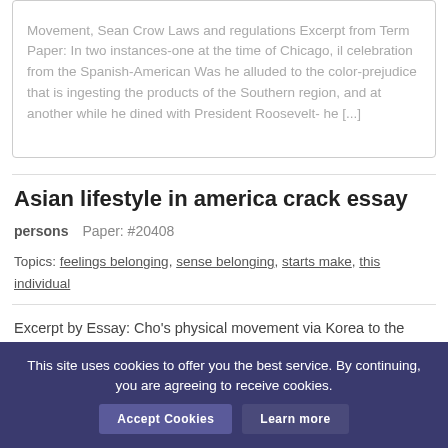Movement, Sean Crow Laws and regulations Excerpt from Term Paper: In two instances-one at the time of Chicago, il celebration from the Spanish-American Was he alluded to the color-prejudice that is ingesting the products of the Southern region, and at another while he dined with President Roosevelt- he [...]
Asian lifestyle in america crack essay
persons    Paper: #20408
Topics: feelings belonging, sense belonging, starts make, this individual
Excerpt by Essay: Cho's physical movement via Korea to the actual area of Dick's home goes away the impression of his wealth. The blind kids who continue in
This site uses cookies to offer you the best service. By continuing, you are agreeing to receive cookies.